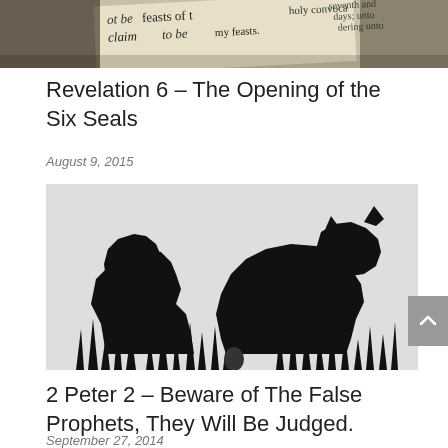[Figure (photo): Close-up photo of a Bible page with text about holy feasts and convocations, angled/tilted view]
Revelation 6 – The Opening of the Six Seals
August 9, 2015
[Figure (illustration): Black silhouette illustration of two wolves or bears standing in tall grass against a light grey background]
2 Peter 2 – Beware of The False Prophets, They Will Be Judged.
September 27, 2014